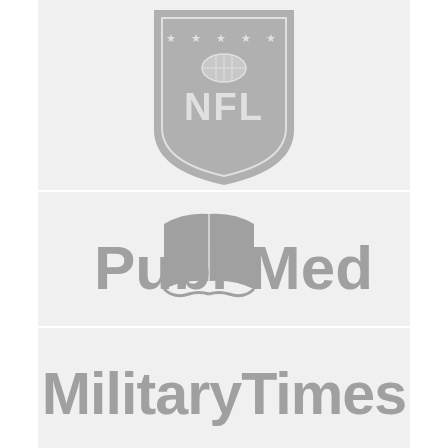[Figure (logo): NFL shield logo in gray]
[Figure (logo): PubMed logo with open book icon in gray]
[Figure (logo): MilitaryTimes wordmark logo in gray]